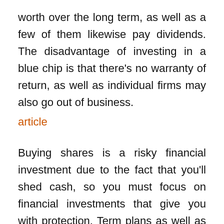worth over the long term, as well as a few of them likewise pay dividends. The disadvantage of investing in a blue chip is that there's no warranty of return, as well as individual firms may also go out of business.
article
Buying shares is a risky financial investment due to the fact that you'll shed cash, so you must focus on financial investments that give you with protection. Term plans as well as ULIPs, or Device Linked Insurance Program, are 2 of the most typical types of investments. Likewise, you'll want to consider your investment time horizon, as this will certainly establish your financial investment goals. Select between short and long-lasting funds based upon the moment duration you'll be investing.